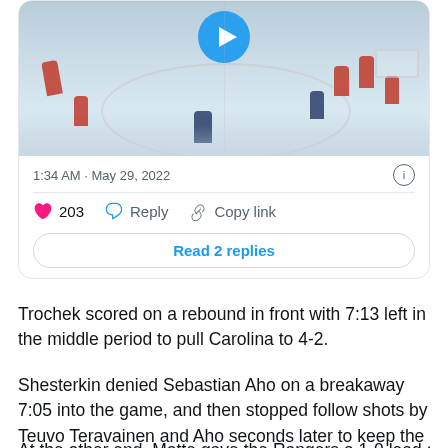[Figure (screenshot): Tweet card showing an embedded hockey video thumbnail with a play button, timestamp '1:34 AM · May 29, 2022', info icon, divider line, heart icon with count 203, Reply button, Copy link button, and a 'Read 2 replies' button]
Trochek scored on a rebound in front with 7:13 left in the middle period to pull Carolina to 4-2.
Shesterkin denied Sebastian Aho on a breakaway 7:05 into the game, and then stopped follow shots by Teuvo Teravainen and Aho seconds later to keep the Hurricanes off the scoreboard.
At the other end, Motte gave the Rangers a 1-0 lead as he